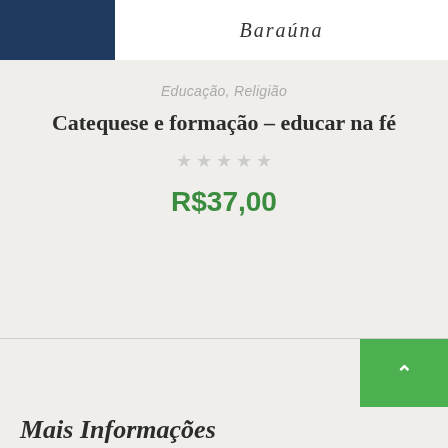[Figure (logo): Header bar with dark blue box on the left and logo text 'Barauna' on white background on the right]
Educação, Religião
Catequese e formação – educar na fé
★★★★★ (empty stars rating)
R$37,00
Mais Informações